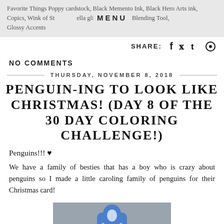Favorite Things Poppy cardstock, Black Memento Ink, Black Hero Arts ink, Copics, Wink of Stella glimmer pen, Ink Blending Tool, Glossy Accents
SHARE: f t p
NO COMMENTS
THURSDAY, NOVEMBER 8, 2018
PENGUIN-ING TO LOOK LIKE CHRISTMAS! (DAY 8 OF THE 30 DAY COLORING CHALLENGE!)
Penguins!!! ♥
We have a family of besties that has a boy who is crazy about penguins so I made a little caroling family of penguins for their Christmas card!
[Figure (photo): Bottom portion of a Christmas card showing a blue penguin figure against a grey background, partially visible at the bottom of the page.]